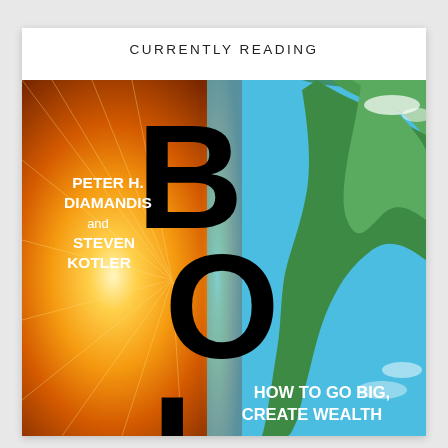CURRENTLY READING
[Figure (illustration): Book cover of 'Bold' by Peter H. Diamandis and Steven Kotler. Left half shows a burst of orange/golden light (sun), right half shows a satellite view of Earth (green landmass against blue ocean). Large black letters 'BOI' visible vertically down the center. Author names in white bold text on left. Bottom text reads 'HOW TO GO BIG, CREATE WEALTH']